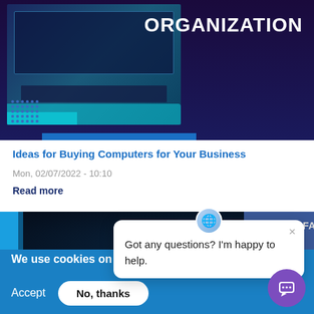[Figure (screenshot): Top banner image showing a dark navy background with 'ORGANIZATION' text in white, a desk with computer equipment on the left side, and a teal/blue accent. Dots grid pattern at bottom left.]
Ideas for Buying Computers for Your Business
Mon, 02/07/2022 - 10:10
Read more
[Figure (screenshot): Second banner showing a dark tech-themed background with a blue stripe on the left, Tech logo, and a Facebook badge on the right.]
We use cookies on thi… experience
By clicking the Accept butt…
More info
Accept
No, thanks
[Figure (screenshot): Chat popup bubble with close X button and avatar icon, text reads: Got any questions? I'm happy to help.]
[Figure (illustration): Purple circular chat FAB button at bottom right.]